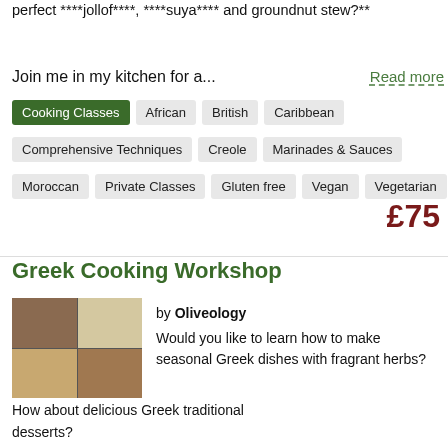perfect ****jollof****, ****suya**** and groundnut stew?**
Join me in my kitchen for a...
Read more
Cooking Classes
African
British
Caribbean
Comprehensive Techniques
Creole
Marinades & Sauces
Moroccan
Private Classes
Gluten free
Vegan
Vegetarian
£75
Greek Cooking Workshop
[Figure (photo): Collage of four food preparation photos showing Greek cooking workshop scenes]
by Oliveology
Would you like to learn how to make seasonal Greek dishes with fragrant herbs?
How about delicious Greek traditional desserts?